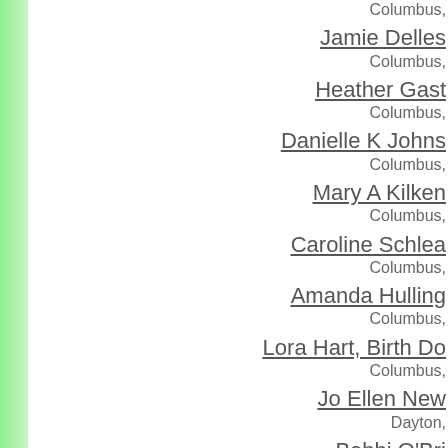Columbus,
Jamie Delles
Columbus,
Heather Gast
Columbus,
Danielle K Johns
Columbus,
Mary A Kilken
Columbus,
Caroline Schlea
Columbus,
Amanda Hulling
Columbus,
Lora Hart, Birth Do
Columbus,
Jo Ellen New
Dayton,
Bobbi O'Bri
Dayton,
Janet Ogd
Dayton,